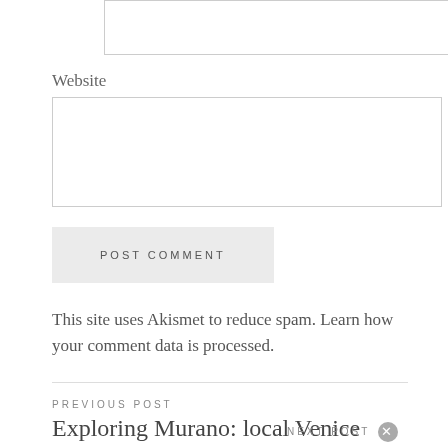Website
[Figure (other): Empty input box (top partial, for previous field)]
[Figure (other): Empty textarea input for Website field]
POST COMMENT
This site uses Akismet to reduce spam. Learn how your comment data is processed.
PREVIOUS POST
Exploring Murano: local Venice
NEXT POST